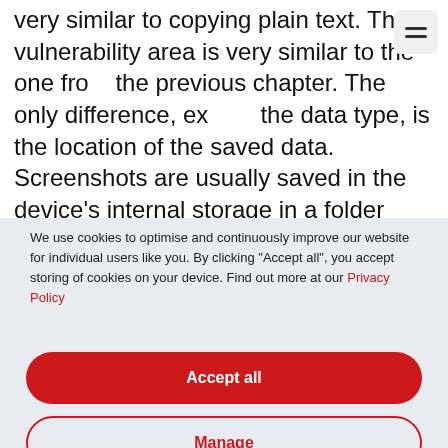very similar to copying plain text. The vulnerability area is very similar to the one from the previous chapter. The only difference, except the data type, is the location of the saved data. Screenshots are usually saved in the device's internal storage in a folder named Screenshots, but this may slightly vary depending on the manufacturer.
We use cookies to optimise and continuously improve our website for individual users like you. By clicking “Accept all”, you accept storing of cookies on your device. Find out more at our Privacy Policy
[Figure (other): Accept all button - red rounded rectangle button]
[Figure (other): Manage button - outlined rounded rectangle button with red text]